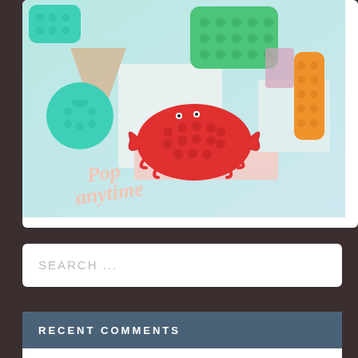[Figure (photo): Advertisement or product photo showing colorful pop-it fidget toys arranged on pastel geometric shapes. A red crab-shaped pop-it is in the center, with teal/green circular and square pop-its, and an orange one visible. Text overlay reads 'Pop anytime' in a handwritten pink font.]
SEARCH ...
RECENT COMMENTS
Teresa Jasinski on TOMS RIVER: OCEAN COUNTY SHERIFF K9 OFFICER FIONA HAS SOME GOOD TIPS FOR CELEBRATING THIS WEEKEND